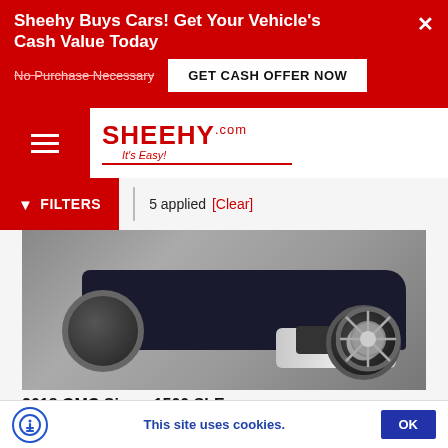Sheehy Buys Cars! Get Your Vehicle's Cash Value Today
No Purchase Necessary
GET CASH OFFER NOW
[Figure (logo): Sheehy.com It's Easy! logo in red]
FILTERS  5 applied  [Clear]
[Figure (photo): 2018 GMC Sierra 1500 SLE truck front close-up with Sheehy banner: THIS VEHICLE COMES WITH EXTRA BENEFITS | LEARN MORE]
2018 GMC Sierra 1500 SLE
Richmond, VA, SLE, # XP1055C,
This site uses cookies.  OK